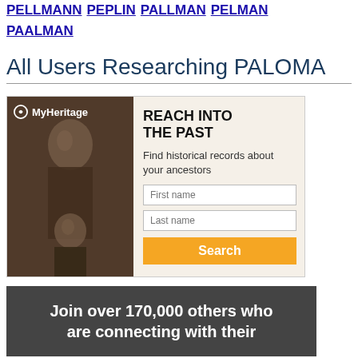PELLMANN PEPLIN PALLMAN PELMAN PAALMAN
All Users Researching PALOMA
[Figure (infographic): MyHeritage advertisement banner with vintage sepia photo of woman and child on left, and on right: headline 'REACH INTO THE PAST', subtext 'Find historical records about your ancestors', First name field, Last name field, Search button]
Join over 170,000 others who are connecting with their